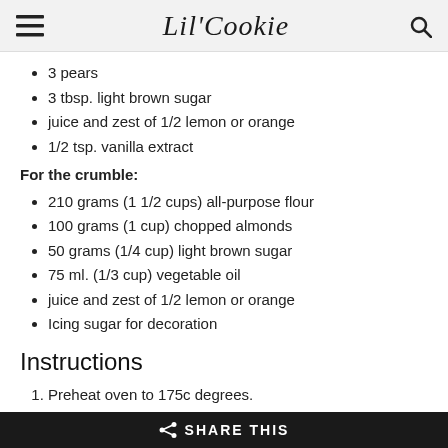Lil'Cookie
3 pears
3 tbsp. light brown sugar
juice and zest of 1/2 lemon or orange
1/2 tsp. vanilla extract
For the crumble:
210 grams (1 1/2 cups) all-purpose flour
100 grams (1 cup) chopped almonds
50 grams (1/4 cup) light brown sugar
75 ml. (1/3 cup) vegetable oil
juice and zest of 1/2 lemon or orange
Icing sugar for decoration
Instructions
Preheat oven to 175c degrees.
Peel and core the apples and pears.
Cut the fruit into medium sized cubes (approximately 2*2 cm) and put in a bowl.
Add brown sugar, juice, orange zest and vanilla and mix well until all fruit is coated with sugar.
SHARE THIS